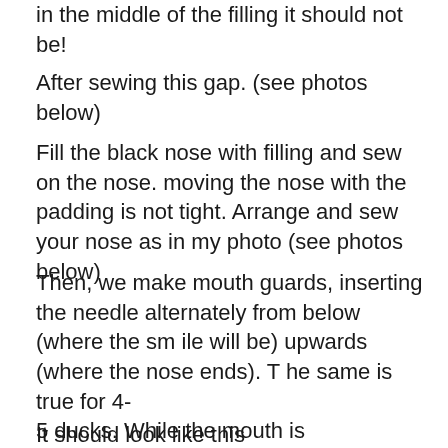in the middle of the filling it should not be!
After sewing this gap. (see photos below)
Fill the black nose with filling and sew on the nose. moving the nose with the padding is not tight. Arrange and sew your nose as in my photo (see photos below)
Then, we make mouth guards, inserting the needle alternately from below (where the smile will be) upwards (where the nose ends). The same is true for 4-5 ducks. While the mouth is not being drawn.
It should look like this